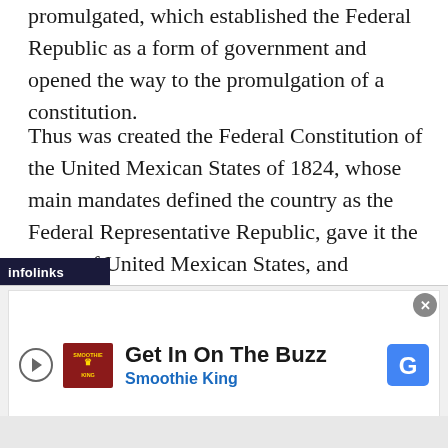promulgated, which established the Federal Republic as a form of government and opened the way to the promulgation of a constitution.
Thus was created the Federal Constitution of the United Mexican States of 1824, whose main mandates defined the country as the Federal Representative Republic, gave it the name of United Mexican States, and positioned Catholicism as the only religion.
This document establishes the division of powers, establishes freedom of the press, integrates the
[Figure (other): Advertisement overlay: infolinks bar with 'Get In On The Buzz - Smoothie King' ad banner with play button, Smoothie King logo, Google icon, close button and dismiss X]